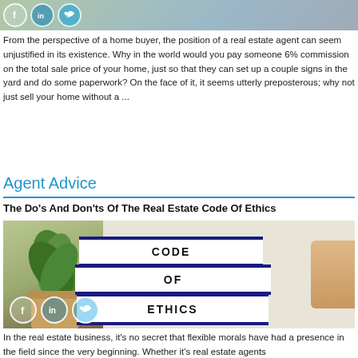[Figure (photo): Top portion of a photo showing people, with three social media icons (Facebook, LinkedIn, Twitter) overlaid in circles]
From the perspective of a home buyer, the position of a real estate agent can seem unjustified in its existence. Why in the world would you pay someone 6% commission on the total sale price of your home, just so that they can set up a couple signs in the yard and do some paperwork? On the face of it, it seems utterly preposterous; why not just sell your home without a ...
Agent Advice
The Do's And Don'ts Of The Real Estate Code Of Ethics
[Figure (photo): Photo of three stacked white books with navy blue borders reading CODE OF ETHICS on spines, with a potted succulent plant on the left and a hand on the right, with three social media icons (Facebook, LinkedIn, Twitter) overlaid in circles at bottom left]
In the real estate business, it's no secret that flexible morals have had a presence in the field since the very beginning. Whether it's real estate agents